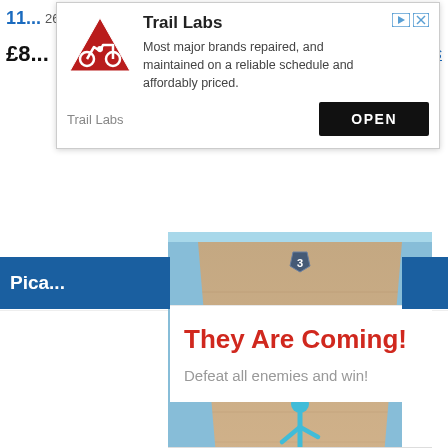11... 26,5...
£8... ails
[Figure (screenshot): Trail Labs advertisement overlay popup with logo (red triangle with motorcycle), title 'Trail Labs', description text 'Most major brands repaired, and maintained on a reliable schedule and affordably priced.', brand name 'Trail Labs', and OPEN button. Ad icons (play/close) in top right.]
[Figure (screenshot): Mobile game screenshot showing sandy/desert road with blue stick figure characters and number 3 badge, with text 'Hold and Move' overlaid in white bold text. Blue header bar partially visible with text 'Pica...' ]
[Figure (screenshot): Gray placeholder/loading area below the game screenshot]
They Are Coming!
Defeat all enemies and win!